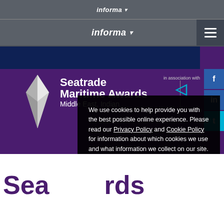informa ▾
informa ▾
[Figure (screenshot): Seatrade Maritime Awards Middle East, Indian — brand logo with crystal/diamond icon on purple background]
We use cookies to help provide you with the best possible online experience. Please read our Privacy Policy and Cookie Policy for information about which cookies we use and what information we collect on our site. By continuing to use this site, you agree that we may store and access cookies on your device.
I AGREE
Seatrade Maritime Awards